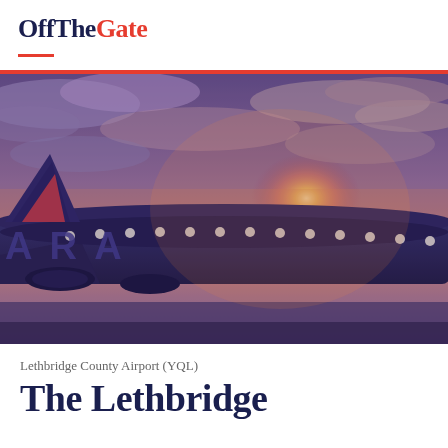OffTheGate
[Figure (photo): An airplane on the tarmac at dusk/sunset with dramatic purple and orange sky and clouds. The aircraft has visible livery text and porthole windows illuminated.]
Lethbridge County Airport (YQL)
The Lethbridge